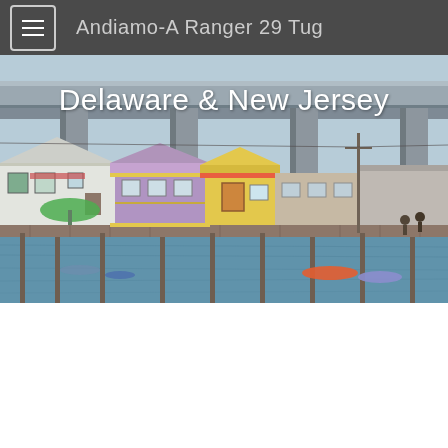Andiamo-A Ranger 29 Tug
[Figure (photo): Waterfront scene showing colorful waterside buildings (white, yellow, purple) on a dock/pier with a large concrete bridge (highway overpass) in the background. A marina area with jet skis and boats visible in the foreground water. Text overlay reads 'Delaware & New Jersey'.]
Delaware & New Jersey